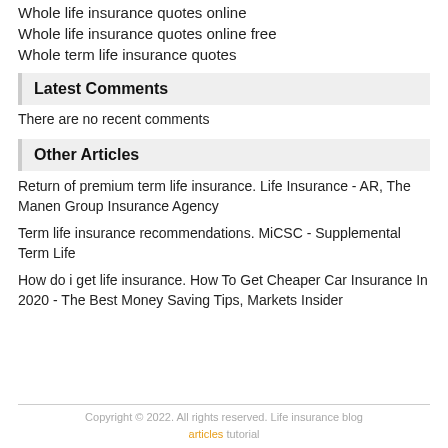Whole life insurance quotes online
Whole life insurance quotes online free
Whole term life insurance quotes
Latest Comments
There are no recent comments
Other Articles
Return of premium term life insurance. Life Insurance - AR, The Manen Group Insurance Agency
Term life insurance recommendations. MiCSC - Supplemental Term Life
How do i get life insurance. How To Get Cheaper Car Insurance In 2020 - The Best Money Saving Tips, Markets Insider
Copyright © 2022. All rights reserved. Life insurance blog articles tutorial